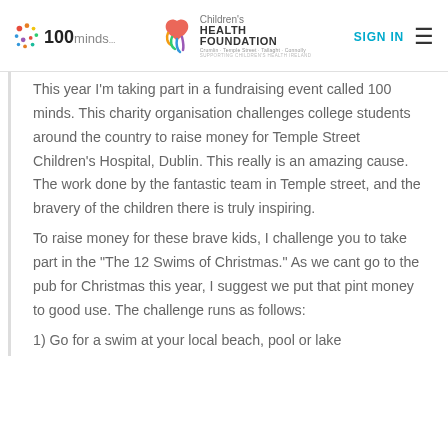100minds | Children's Health Foundation | SIGN IN
This year I'm taking part in a fundraising event called 100 minds. This charity organisation challenges college students around the country to raise money for Temple Street Children's Hospital, Dublin. This really is an amazing cause. The work done by the fantastic team in Temple street, and the bravery of the children there is truly inspiring.
To raise money for these brave kids, I challenge you to take part in the "The 12 Swims of Christmas." As we cant go to the pub for Christmas this year, I suggest we put that pint money to good use. The challenge runs as follows:
1) Go for a swim at your local beach, pool or lake